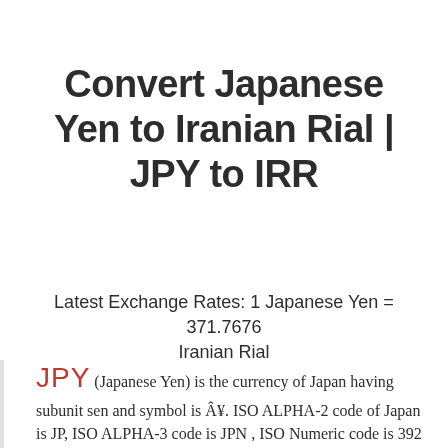Convert Japanese Yen to Iranian Rial | JPY to IRR
Latest Exchange Rates: 1 Japanese Yen = 371.7676 Iranian Rial
JPY (Japanese Yen) is the currency of Japan having subunit sen and symbol is Â¥. ISO ALPHA-2 code of Japan is JP, ISO ALPHA-3 code is JPN , ISO Numeric code is 392 and dialing phone code is +81. It is located in Asia